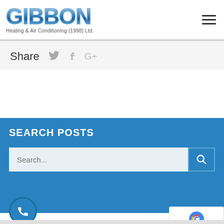[Figure (logo): Gibbon Heating & Air Conditioning (1998) Ltd. logo with large blue gradient lettering and subtitle]
Share
SEARCH POSTS
Search...